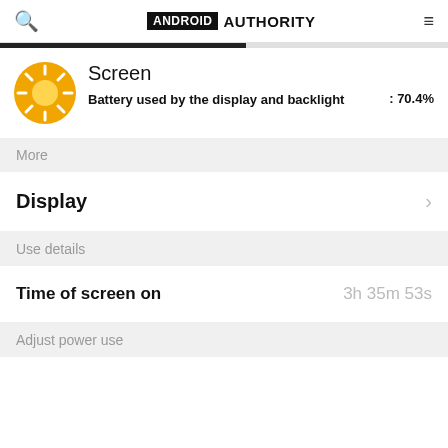ANDROID AUTHORITY
Screen
Battery used by the display and backlight : 70.4%
More
Display
Use details
Time of screen on    3h 35m 53s
Adjust power use